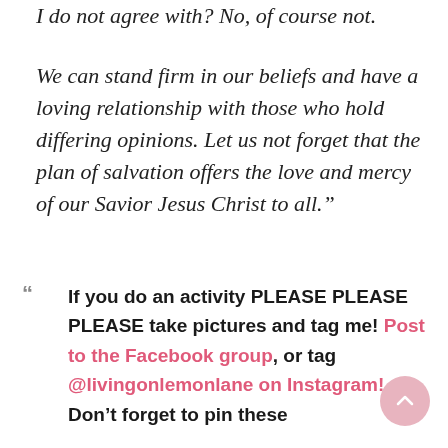I do not agree with? No, of course not.
We can stand firm in our beliefs and have a loving relationship with those who hold differing opinions. Let us not forget that the plan of salvation offers the love and mercy of our Savior Jesus Christ to all.”
If you do an activity PLEASE PLEASE PLEASE take pictures and tag me! Post to the Facebook group, or tag @livingonlemonlane on Instagram! Don’t forget to pin these